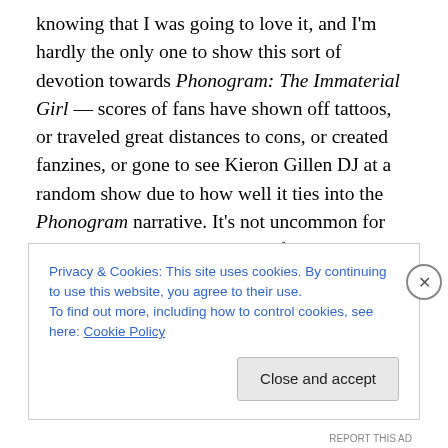knowing that I was going to love it, and I'm hardly the only one to show this sort of devotion towards Phonogram: The Immaterial Girl — scores of fans have shown off tattoos, or traveled great distances to cons, or created fanzines, or gone to see Kieron Gillen DJ at a random show due to how well it ties into the Phonogram narrative. It's not uncommon for media to evoke such passion, of course… but consider, if you will, that prior to this week, Phonogram existed soley as two poorly selling limited series by creators who were, at that time, almost entirely unknown. This wasn't even the work that built their careers — Gillen
Privacy & Cookies: This site uses cookies. By continuing to use this website, you agree to their use.
To find out more, including how to control cookies, see here: Cookie Policy
Close and accept
REPORT THIS AD